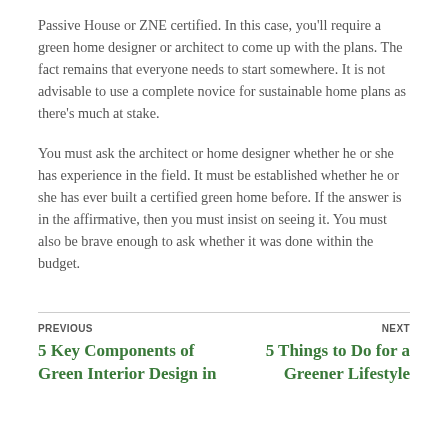Passive House or ZNE certified. In this case, you'll require a green home designer or architect to come up with the plans. The fact remains that everyone needs to start somewhere. It is not advisable to use a complete novice for sustainable home plans as there's much at stake.
You must ask the architect or home designer whether he or she has experience in the field. It must be established whether he or she has ever built a certified green home before. If the answer is in the affirmative, then you must insist on seeing it. You must also be brave enough to ask whether it was done within the budget.
PREVIOUS: 5 Key Components of Green Interior Design in | NEXT: 5 Things to Do for a Greener Lifestyle